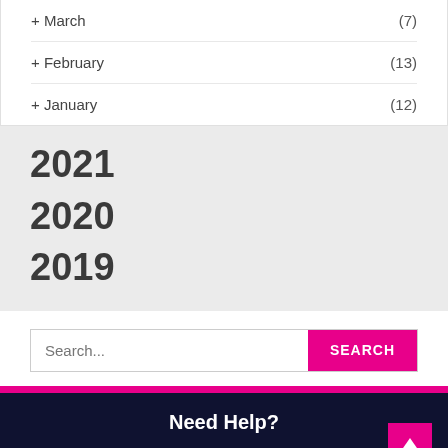+ March (7)
+ February (13)
+ January (12)
2021
2020
2019
Search...
SEARCH
Need Help?
© 2022 – Fashion Freax. All Rights Reserved.